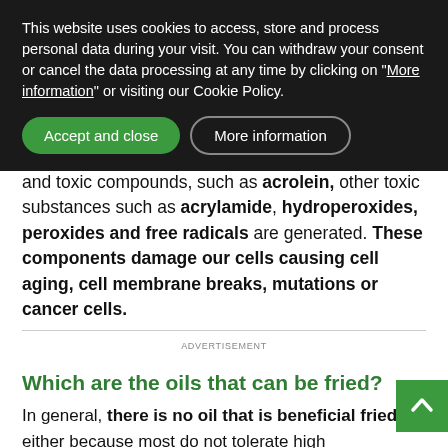This website uses cookies to access, store and process personal data during your visit. You can withdraw your consent or cancel the data processing at any time by clicking on "More information" or visiting our Cookie Policy.
and toxic compounds, such as acrolein, other toxic substances such as acrylamide, hydroperoxides, peroxides and free radicals are generated. These components damage our cells causing cell aging, cell membrane breaks, mutations or cancer cells.
ADVERTISEMENT
Which are the oils that can be fried?
In general, there is no oil that is beneficial fried, either because most do not tolerate high temperatures, or because at high temperatures, the proteins and